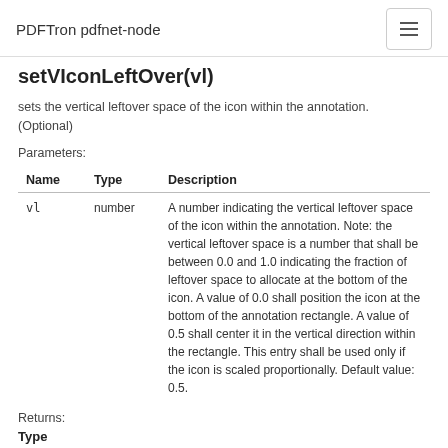PDFTron pdfnet-node
setVIconLeftOver(vl)
sets the vertical leftover space of the icon within the annotation. (Optional)
Parameters:
| Name | Type | Description |
| --- | --- | --- |
| vl | number | A number indicating the vertical leftover space of the icon within the annotation. Note: the vertical leftover space is a number that shall be between 0.0 and 1.0 indicating the fraction of leftover space to allocate at the bottom of the icon. A value of 0.0 shall position the icon at the bottom of the annotation rectangle. A value of 0.5 shall center it in the vertical direction within the rectangle. This entry shall be used only if the icon is scaled proportionally. Default value: 0.5. |
Returns:
Type